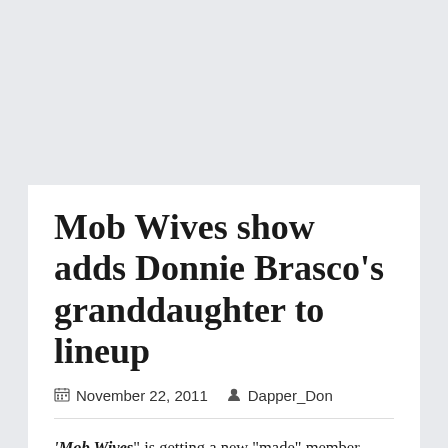Mob Wives show adds Donnie Brasco's granddaughter to lineup
November 22, 2011   Dapper_Don
'Mob Wives' is getting a new "made" member. Ramona Rizzo — the granddaughter of Benjamin "Lefty Guns" Ruggiero, the Bonnano crime family soldier played by Al Pacino in the 1997 movie…